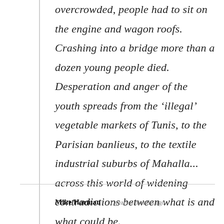overcrowded, people had to sit on the engine and wagon roofs. Crashing into a bridge more than a dozen young people died. Desperation and anger of the youth spreads from the ‘illegal’ vegetable markets of Tunis, to the Parisian banlieus, to the textile industrial suburbs of Mahalla... across this world of widening contradictions between what is and what could be.
Mike Harman   11 years 6 months ago